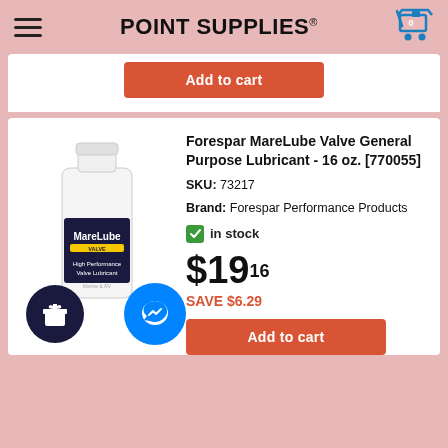POINT SUPPLIES
[Figure (screenshot): Add to cart button (partially visible from previous product card)]
Forespar MareLube Valve General Purpose Lubricant - 16 oz. [770055]
SKU: 73217
Brand: Forespar Performance Products
in stock
$19.16
SAVE $6.29
[Figure (photo): Forespar MareLube Valve High Performance Valve Lubricant 16 oz bottle, white bottle with dark label]
Add to cart